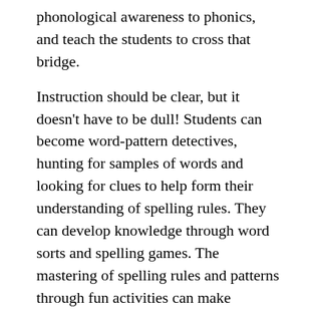phonological awareness to phonics, and teach the students to cross that bridge.
Instruction should be clear, but it doesn't have to be dull! Students can become word-pattern detectives, hunting for samples of words and looking for clues to help form their understanding of spelling rules. They can develop knowledge through word sorts and spelling games. The mastering of spelling rules and patterns through fun activities can make learning enjoyable for all!
Watch and learn
Specific spelling errors can signal a child's slow progress and the need for extra help. In the video clip below,